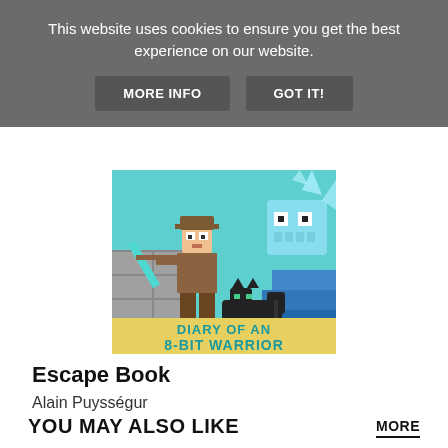This website uses cookies to ensure you get the best experience on our website.
MORE INFO
GOT IT!
[Figure (illustration): Book cover for 'Diary of an 8-Bit Warrior' showing a Minecraft-style character wielding a diamond sword with a black cat running alongside, and a blocky blue enemy in the background]
Escape Book
Alain Puysségur
YOU MAY ALSO LIKE
MORE